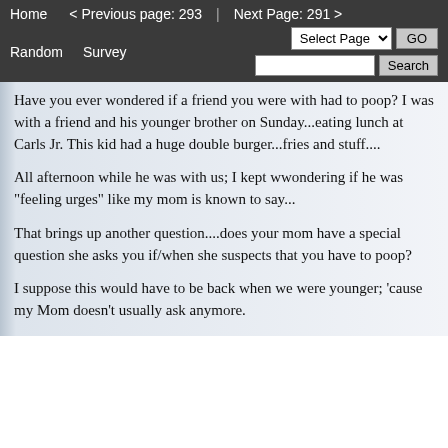Home   < Previous page: 293  |  Next Page: 291 >   Random   Survey   Select Page ▼  GO   [Search box]  Search
Have you ever wondered if a friend you were with had to poop? I was with a friend and his younger brother on Sunday...eating lunch at Carls Jr. This kid had a huge double burger...fries and stuff....
All afternoon while he was with us; I kept wwondering if he was "feeling urges" like my mom is known to say...
That brings up another question....does your mom have a special question she asks you if/when she suspects that you have to poop?
I suppose this would have to be back when we were younger; 'cause my Mom doesn't usually ask anymore.
My mom liked to use the word "urges"...
K.C.
PS:+ Reviewed at and I wanted to try visiting the